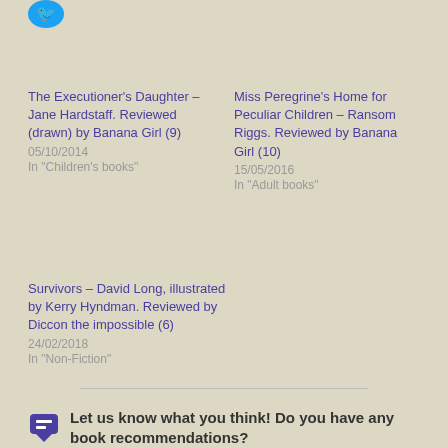[Figure (logo): Blue Twitter bird icon in top left]
The Executioner's Daughter – Jane Hardstaff. Reviewed (drawn) by Banana Girl (9)
05/10/2014
In "Children's books"
Miss Peregrine's Home for Peculiar Children – Ransom Riggs. Reviewed by Banana Girl (10)
15/05/2016
In "Adult books"
Survivors – David Long, illustrated by Kerry Hyndman. Reviewed by Diccon the impossible (6)
24/02/2018
In "Non-Fiction"
Let us know what you think! Do you have any book recommendations?